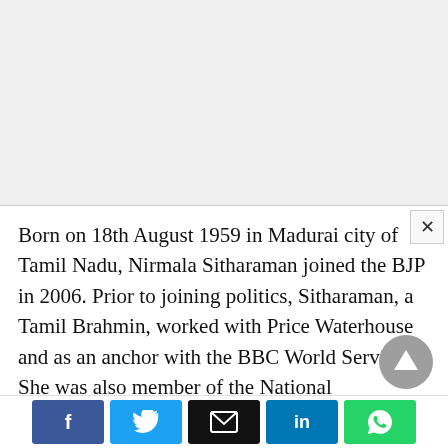[Figure (screenshot): Top grey area representing browser/app background]
Born on 18th August 1959 in Madurai city of Tamil Nadu, Nirmala Sitharaman joined the BJP in 2006. Prior to joining politics, Sitharaman, a Tamil Brahmin, worked with Price Waterhouse and as an anchor with the BBC World Service. She was also member of the National Commission for Women.
Pralhad Joshi